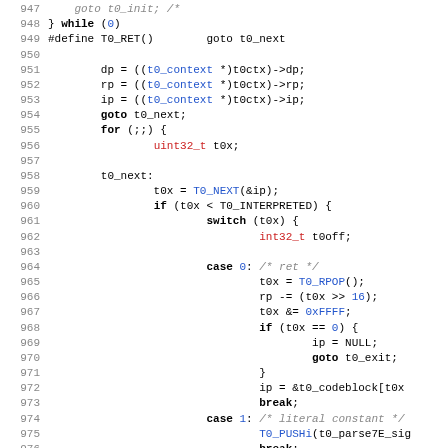[Figure (screenshot): Source code listing showing C code lines 948-979 with syntax highlighting. Keywords in bold black, function/macro calls in blue, type names in red, comments in gray italic, line numbers in gray.]